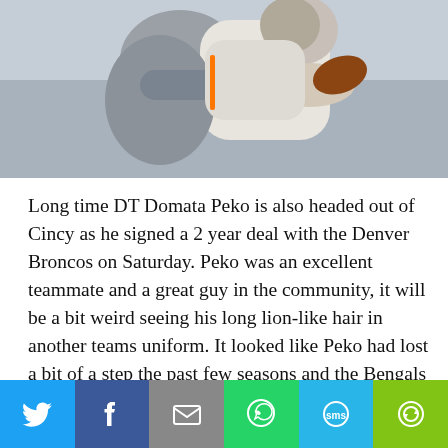[Figure (photo): Two American football players in action, one tackling the other who is holding a football. Players appear to be wearing white and orange/navy uniforms.]
Long time DT Domata Peko is also headed out of Cincy as he signed a 2 year deal with the Denver Broncos on Saturday. Peko was an excellent teammate and a great guy in the community, it will be a bit weird seeing his long lion-like hair in another teams uniform. It looked like Peko had lost a bit of a step the past few seasons and the Bengals have good young depth coming up at defensive tackle with guys like Marcus Hardison, Andrew Billings and DeShawn
[Figure (infographic): Social media share bar with six buttons: Twitter (blue), Facebook (dark blue), Email (grey), WhatsApp (green), SMS (light blue), More (green with circular arrow icon)]